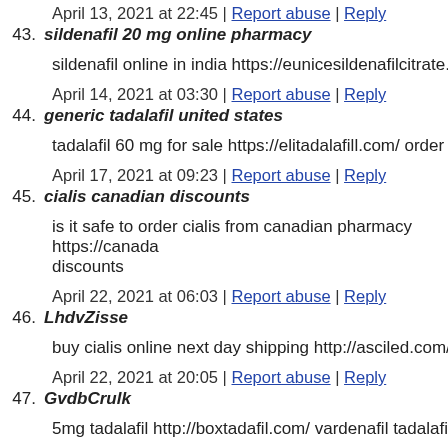April 13, 2021 at 22:45 | Report abuse | Reply
43. sildenafil 20 mg online pharmacy
sildenafil online in india https://eunicesildenafilcitrate.com/ sil
April 14, 2021 at 03:30 | Report abuse | Reply
44. generic tadalafil united states
tadalafil 60 mg for sale https://elitadalafill.com/ order tadalafil
April 17, 2021 at 09:23 | Report abuse | Reply
45. cialis canadian discounts
is it safe to order cialis from canadian pharmacy https://canada discounts
April 22, 2021 at 06:03 | Report abuse | Reply
46. LhdvZisse
buy cialis online next day shipping http://asciled.com/ buy gen
April 22, 2021 at 20:05 | Report abuse | Reply
47. GvdbCrulk
5mg tadalafil http://boxtadafil.com/ vardenafil tadalafil